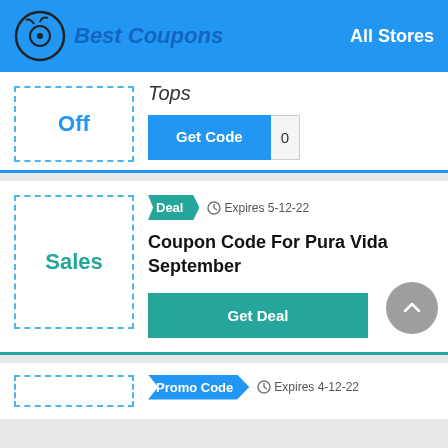Best Coupons — All Stores
Off
Tops
Get Code
Sales
Deal  Expires 5-12-22
Coupon Code For Pura Vida September
Get Deal
Promo Code  Expires 4-12-22